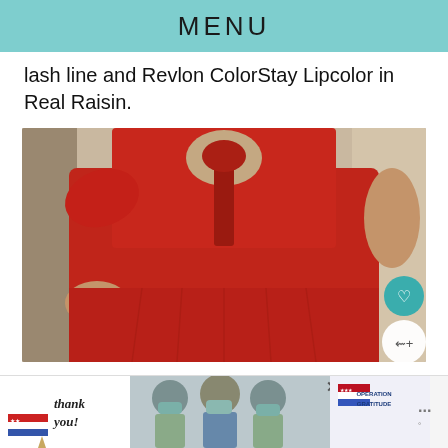MENU
lash line and Revlon ColorStay Lipcolor in Real Raisin.
[Figure (photo): Woman wearing a red dress with ruffled cap sleeves and a tie neck, hand on hip, photo cropped at torso. Heart (favorite) button and share button overlay on the right side.]
[Figure (photo): Advertisement banner: 'Thank you!' text with American flag pencil graphic on left, group photo of people in masks in center, Operation Gratitude logo on right.]